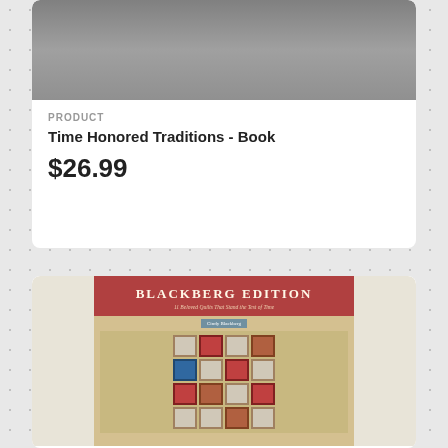[Figure (photo): Top portion of a quilting book cover, partially cropped]
PRODUCT
Time Honored Traditions - Book
$26.99
[Figure (photo): Book cover for Blackberg Edition - 11 Beloved Quilts That Stand the Test of Time by Cindy Blackberg, showing a quilt displayed on a wooden rack with a red title band]
PRODUCT
Blackberg Edition - 11 Beloved quilts that stand the test of time - Book
$25.99